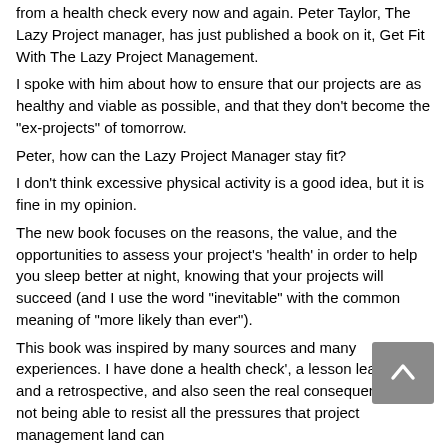from a health check every now and again. Peter Taylor, The Lazy Project manager, has just published a book on it, Get Fit With The Lazy Project Management. I spoke with him about how to ensure that our projects are as healthy and viable as possible, and that they don't become the "ex-projects" of tomorrow. Peter, how can the Lazy Project Manager stay fit? I don't think excessive physical activity is a good idea, but it is fine in my opinion. The new book focuses on the reasons, the value, and the opportunities to assess your project's 'health' in order to help you sleep better at night, knowing that your projects will succeed (and I use the word "inevitable" with the common meaning of "more likely than ever"). This book was inspired by many sources and many experiences. I have done a health check', a lesson learned, and a retrospective, and also seen the real consequences of not being able to resist all the pressures that project management land can